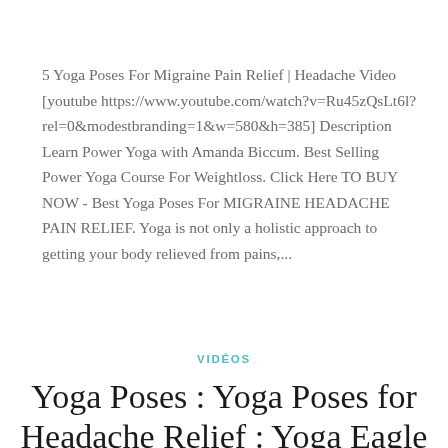5 Yoga Poses For Migraine Pain Relief | Headache Video [youtube https://www.youtube.com/watch?v=Ru45zQsLt6l?rel=0&modestbranding=1&w=580&h=385] Description Learn Power Yoga with Amanda Biccum. Best Selling Power Yoga Course For Weightloss. Click Here TO BUY NOW - Best Yoga Poses For MIGRAINE HEADACHE PAIN RELIEF. Yoga is not only a holistic approach to getting your body relieved from pains,...
READ MORE
VIDÉOS
Yoga Poses : Yoga Poses for Headache Relief : Yoga Eagle Pose to Relieve Headache